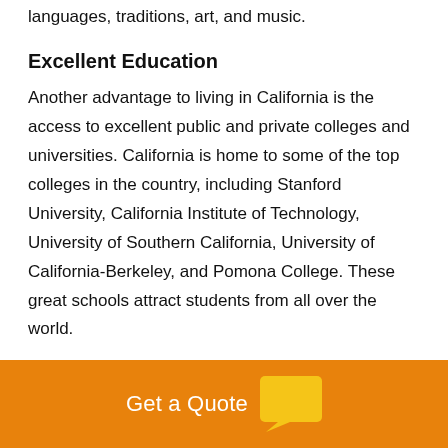languages, traditions, art, and music.
Excellent Education
Another advantage to living in California is the access to excellent public and private colleges and universities. California is home to some of the top colleges in the country, including Stanford University, California Institute of Technology, University of Southern California, University of California-Berkeley, and Pomona College. These great schools attract students from all over the world.
So Much to See and Do
Get a Quote